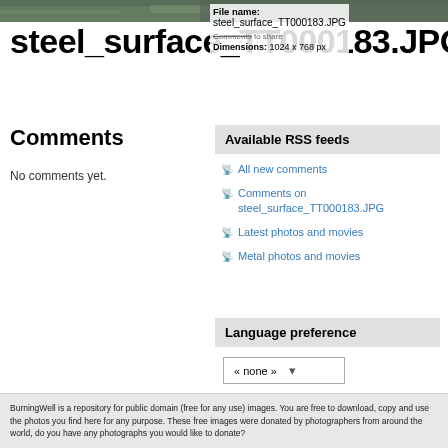[Figure (photo): Top strip showing a steel surface photo]
File name: steel_surface_TT000183.JPG
steel_surface_TT000183.JPG
Dimensions: 1024 x 768 px
Comments
No comments yet.
Available RSS feeds
All new comments
Comments on steel_surface_TT000183.JPG
Latest photos and movies
Metal photos and movies
Language preference
« none »
BurningWell is a repository for public domain (free for any use) images. You are free to download, copy and use the photos you find here for any purpose. These free images were donated by photographers from around the world, do you have any photographs you would like to donate?